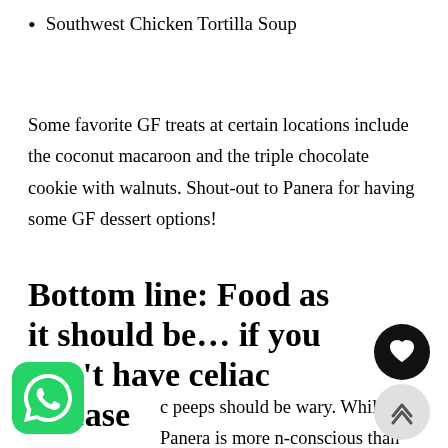Southwest Chicken Tortilla Soup
Some favorite GF treats at certain locations include the coconut macaroon and the triple chocolate cookie with walnuts. Shout-out to Panera for having some GF dessert options!
Bottom line: Food as it should be... if you don't have celiac disease
c peeps should be wary. While Panera is more n-conscious than some other chains, cross